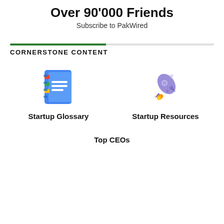Over 90'000 Friends
Subscribe to PakWired
CORNERSTONE CONTENT
[Figure (illustration): Google Docs / notebook icon representing Startup Glossary]
Startup Glossary
[Figure (illustration): Rocket emoji icon representing Startup Resources]
Startup Resources
Top CEOs